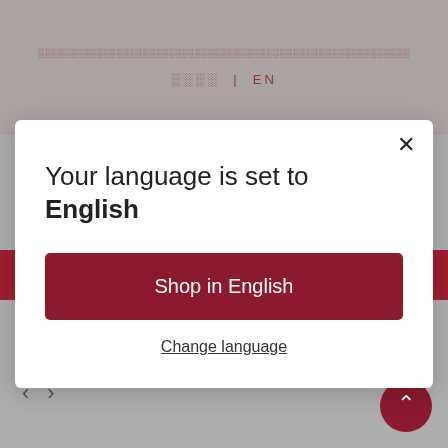░░░░░░░░░░░░░░░░░░░░░░░░░░░░░░░░░░░░░░░░░░░░░░░░░░ | EN
[Figure (logo): Red bowling pin / location pin logo icon for a pizza or food brand]
Your language is set to English
Shop in English
Change language
$69.00
$62.00